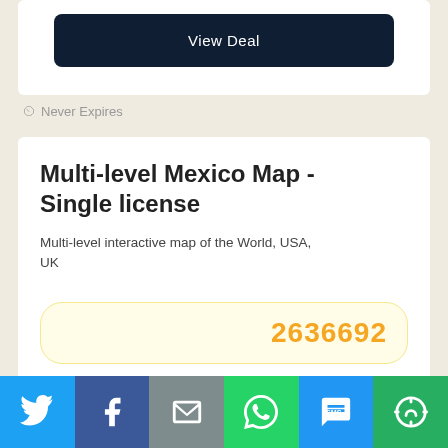View Deal
Never Expires
Multi-level Mexico Map - Single license
Multi-level interactive map of the World, USA, UK
2636692
[Figure (other): Social share bar with Twitter, Facebook, Email, WhatsApp, SMS, and More icons]